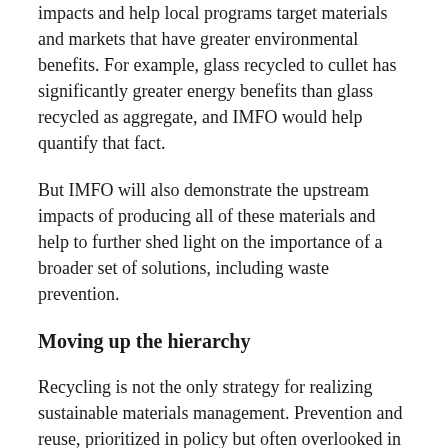impacts and help local programs target materials and markets that have greater environmental benefits. For example, glass recycled to cullet has significantly greater energy benefits than glass recycled as aggregate, and IMFO would help quantify that fact.
But IMFO will also demonstrate the upstream impacts of producing all of these materials and help to further shed light on the importance of a broader set of solutions, including waste prevention.
Moving up the hierarchy
Recycling is not the only strategy for realizing sustainable materials management. Prevention and reuse, prioritized in policy but often overlooked in practice, also have important roles to play.